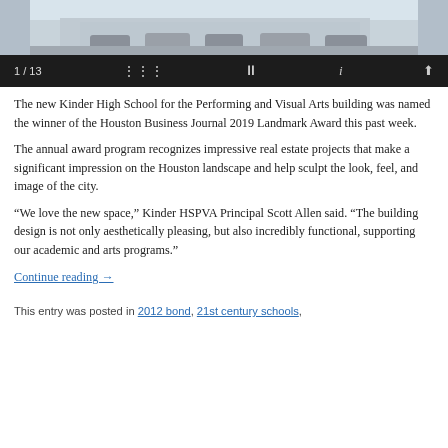[Figure (photo): Top portion of a photo showing a building exterior with parked cars, partially cropped at the top of the page]
[Figure (other): Slideshow controls bar: '1 / 13', grid icon, pause icon, info icon, share icon on dark background]
The new Kinder High School for the Performing and Visual Arts building was named the winner of the Houston Business Journal 2019 Landmark Award this past week.
The annual award program recognizes impressive real estate projects that make a significant impression on the Houston landscape and help sculpt the look, feel, and image of the city.
“We love the new space,” Kinder HSPVA Principal Scott Allen said. “The building design is not only aesthetically pleasing, but also incredibly functional, supporting our academic and arts programs.”
Continue reading →
This entry was posted in 2012 bond, 21st century schools,